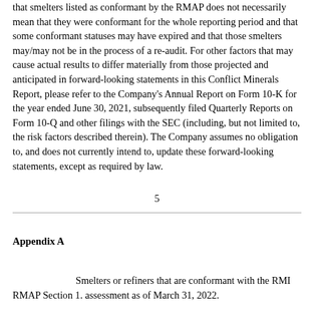that smelters listed as conformant by the RMAP does not necessarily mean that they were conformant for the whole reporting period and that some conformant statuses may have expired and that those smelters may/may not be in the process of a re-audit. For other factors that may cause actual results to differ materially from those projected and anticipated in forward-looking statements in this Conflict Minerals Report, please refer to the Company's Annual Report on Form 10-K for the year ended June 30, 2021, subsequently filed Quarterly Reports on Form 10-Q and other filings with the SEC (including, but not limited to, the risk factors described therein). The Company assumes no obligation to, and does not currently intend to, update these forward-looking statements, except as required by law.
5
Appendix A
Smelters or refiners that are conformant with the RMI RMAP Section 1. assessment as of March 31, 2022.